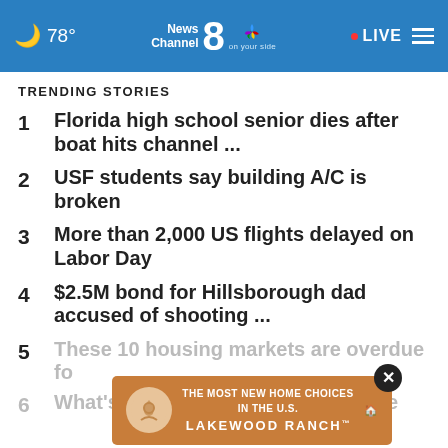78° News Channel 8 on your side LIVE
TRENDING STORIES
1 Florida high school senior dies after boat hits channel ...
2 USF students say building A/C is broken
3 More than 2,000 US flights delayed on Labor Day
4 $2.5M bond for Hillsborough dad accused of shooting ...
5 These 10 housing markets are overdue fo...
6 What's happening at the AMC movie ...
[Figure (infographic): Advertisement overlay: THE MOST NEW HOME CHOICES IN THE U.S. LAKEWOOD RANCH with a close button]